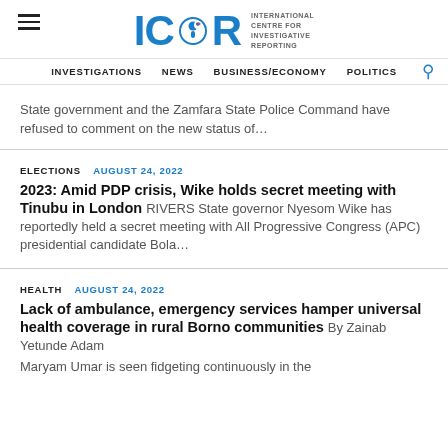ICIR - International Centre for Investigative Reporting
INVESTIGATIONS  NEWS  BUSINESS/ECONOMY  POLITICS
State government and the Zamfara State Police Command have refused to comment on the new status of...
ELECTIONS  AUGUST 24, 2022
2023: Amid PDP crisis, Wike holds secret meeting with Tinubu in London
RIVERS State governor Nyesom Wike has reportedly held a secret meeting with All Progressive Congress (APC) presidential candidate Bola...
HEALTH  AUGUST 24, 2022
Lack of ambulance, emergency services hamper universal health coverage in rural Borno communities
By Zainab Yetunde Adam Maryam Umar is seen fidgeting continuously in the